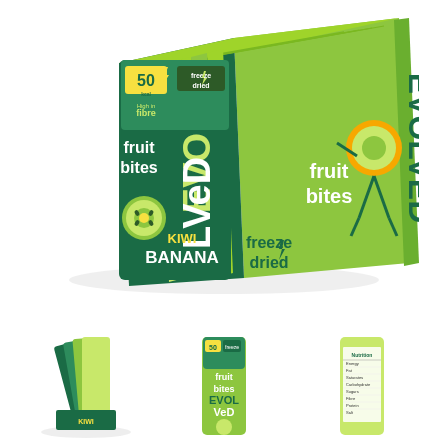[Figure (photo): Product display box of Evolved Freeze Dried Fruit Bites - Kiwi Banana flavour. A large green retail display box containing multiple individual green packet snacks, showing branding with 'EVOLVED', 'fruit bites', 'freeze dried', 'KIWI BANANA', and '50 High in fibre' callouts. The box is green with dark green accents and shows a kiwi fruit illustration.]
[Figure (photo): Thumbnail showing side view of the Evolved Fruit Bites display box with multiple packets fanned out.]
[Figure (photo): Thumbnail showing front view of a single Evolved Fruit Bites packet, green with '50', 'fruit bites', 'EVOLVED' branding.]
[Figure (photo): Thumbnail showing the back/nutritional information panel of an Evolved Fruit Bites packet.]